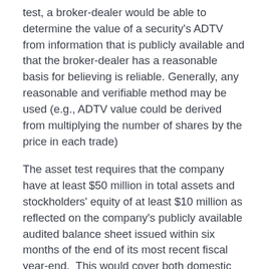test, a broker-dealer would be able to determine the value of a security's ADTV from information that is publicly available and that the broker-dealer has a reasonable basis for believing is reliable. Generally, any reasonable and verifiable method may be used (e.g., ADTV value could be derived from multiplying the number of shares by the price in each trade)
The asset test requires that the company have at least $50 million in total assets and stockholders' equity of at least $10 million as reflected on the company's publicly available audited balance sheet issued within six months of the end of its most recent fiscal year-end.  This would cover both domestic and foreign issuers.
The rule also creates an exception for a company who has another security concurrently being quoted on a national securities exchange.  For example, some companies quote their warrants or rights on